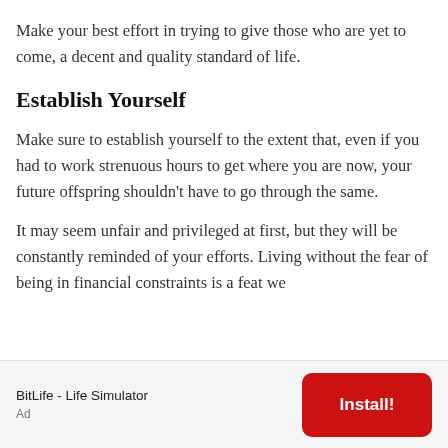Make your best effort in trying to give those who are yet to come, a decent and quality standard of life.
Establish Yourself
Make sure to establish yourself to the extent that, even if you had to work strenuous hours to get where you are now, your future offspring shouldn't have to go through the same.
It may seem unfair and privileged at first, but they will be constantly reminded of your efforts. Living without the fear of being in financial constraints is a feat we
BitLife - Life Simulator
Ad
Install!